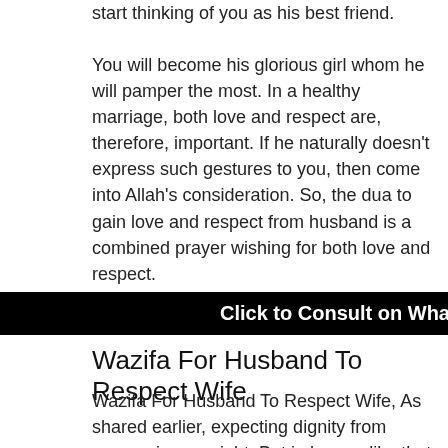start thinking of you as his best friend.
You will become his glorious girl whom he will pamper the most. In a healthy marriage, both love and respect are, therefore, important. If he naturally doesn't express such gestures to you, then come into Allah's consideration. So, the dua to gain love and respect from husband is a combined prayer wishing for both love and respect.
[Figure (screenshot): Black banner with white bold text reading 'Click to Consult on Whatsapp']
Wazifa For Husband To Respect Wife
Wazifa For Husband To Respect Wife, As shared earlier, expecting dignity from anyone is your right. But in homes like that of husband and wife, such expectations can't be taken coercively. In such cases, the mercy of the lord is the greatest path in front of us. Even if it looks unbelievable, but many have got